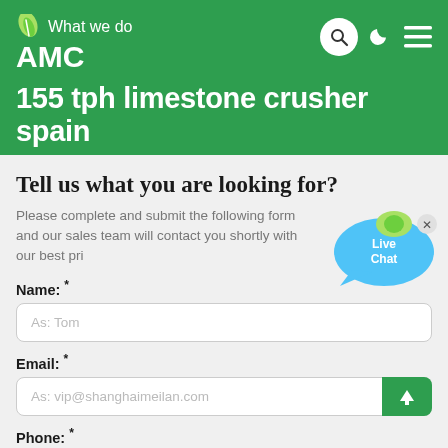What we do AMC
155 tph limestone crusher spain
Tell us what you are looking for?
Please complete and submit the following form and our sales team will contact you shortly with our best pri...
[Figure (illustration): Live Chat speech bubble icon with blue background and 'Live Chat' text, with a close (x) button]
Name: *
As: Tom
Email: *
As: vip@shanghaimeilan.com
Phone: *
With Country Code
The Location of the Project: